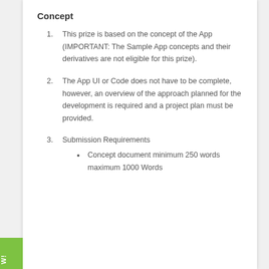Concept
This prize is based on the concept of the App (IMPORTANT: The Sample App concepts and their derivatives are not eligible for this prize).
The App UI or Code does not have to be complete, however, an overview of the approach planned for the development is required and a project plan must be provided.
Submission Requirements
Concept document minimum 250 words maximum 1000 Words